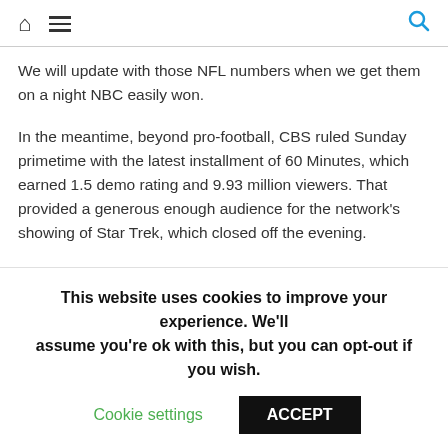Home | Menu | Search
We will update with those NFL numbers when we get them on a night NBC easily won.
In the meantime, beyond pro-football, CBS ruled Sunday primetime with the latest installment of 60 Minutes, which earned 1.5 demo rating and 9.93 million viewers. That provided a generous enough audience for the network's showing of Star Trek, which closed off the evening.
America's Funniest Home Videos returned to ABC on Sunday for its Season 32 premiere (0.4, 4.57M) just slightly down in demo rating,
This website uses cookies to improve your experience. We'll assume you're ok with this, but you can opt-out if you wish.
Cookie settings  ACCEPT